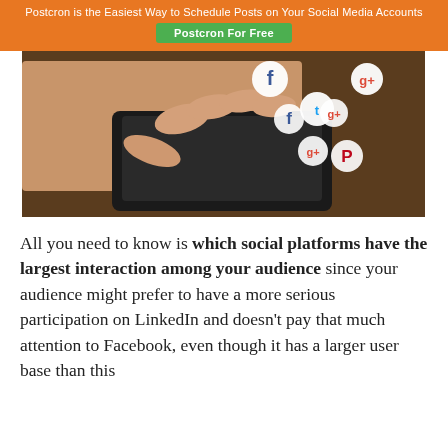Postcron is the Easiest Way to Schedule Posts on Your Social Media Accounts
Postcron For Free
[Figure (photo): A person using a smartphone with social media icons (Facebook, Twitter, Google+, Pinterest) floating above the screen]
All you need to know is which social platforms have the largest interaction among your audience since your audience might prefer to have a more serious participation on LinkedIn and doesn't pay that much attention to Facebook, even though it has a larger user base than this